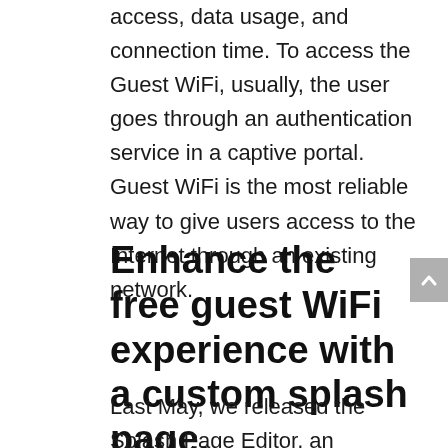access, data usage, and connection time. To access the Guest WiFi, usually, the user goes through an authentication service in a captive portal. Guest WiFi is the most reliable way to give users access to the Internet through an existing network.
Enhance the free guest WiFi experience with a custom splash page.
Last May, we released the Splash Page Editor, an essential tool that allows Network Administrators to create a